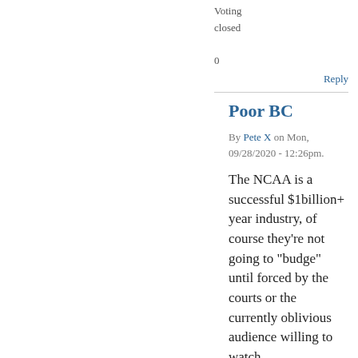Voting closed
0
Reply
Poor BC
By Pete X on Mon, 09/28/2020 - 12:26pm.
The NCAA is a successful $1billion+ year industry, of course they're not going to "budge" until forced by the courts or the currently oblivious audience willing to watch